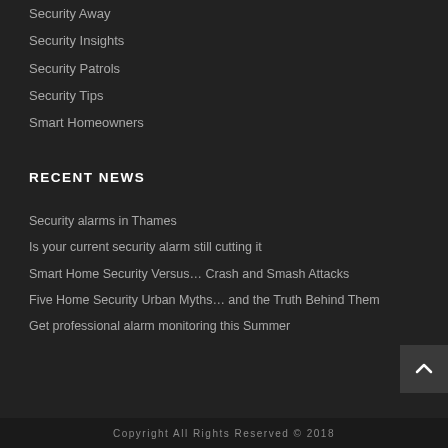Security Away
Security Insights
Security Patrols
Security Tips
Smart Homeowners
RECENT NEWS
Security alarms in Thames
Is your current security alarm still cutting it
Smart Home Security Versus… Crash and Smash Attacks
Five Home Security Urban Myths… and the Truth Behind Them
Get professional alarm monitoring this Summer
Copyright All Rights Reserved © 2018